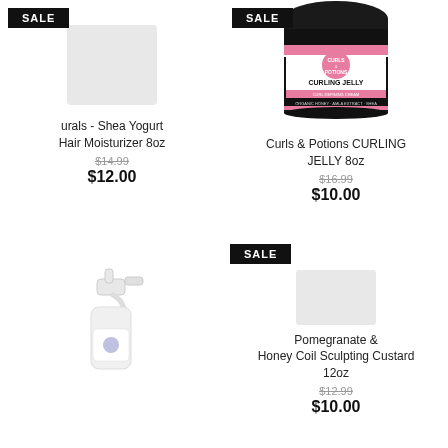[Figure (photo): Product image for Naturals Shea Yogurt Hair Moisturizer 8oz with SALE badge]
urals - Shea Yogurt Hair Moisturizer 8oz
$14.99 (original price, strikethrough)
$12.00
[Figure (photo): Product jar image for Curls & Potions Curling Jelly 8oz with SALE badge]
Curls & Potions CURLING JELLY 8oz
$16.99 (original price, strikethrough)
$10.00
[Figure (photo): White spray bottle product image]
[Figure (photo): Product image for Pomegranate & Honey Coil Sculpting Custard 12oz with SALE badge]
Pomegranate & Honey Coil Sculpting Custard 12oz
$12.99 (original price, strikethrough)
$10.00